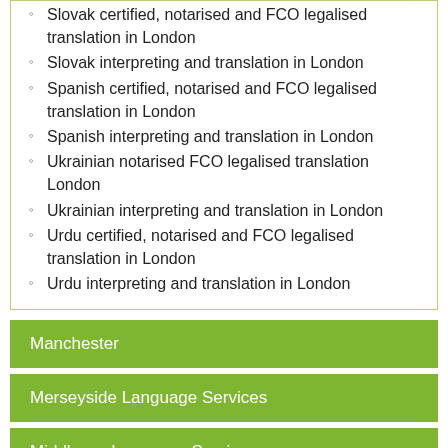Slovak certified, notarised and FCO legalised translation in London
Slovak interpreting and translation in London
Spanish certified, notarised and FCO legalised translation in London
Spanish interpreting and translation in London
Ukrainian notarised FCO legalised translation London
Ukrainian interpreting and translation in London
Urdu certified, notarised and FCO legalised translation in London
Urdu interpreting and translation in London
Manchester
Merseyside Language Services
Middlesex Language Services
Norfolk Language Services
Northamptonshire Language Services